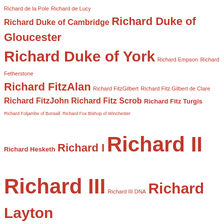Richard de la Pole Richard de Lucy Richard Duke of Cambridge Richard Duke of Gloucester Richard Duke of York Richard Empson Richard Fetherstone Richard FitzAlan Richard FitzGilbert Richard Fitz Gilbert de Clare Richard FitzJohn Richard Fitz Scrob Richard Fitz Turgis Richard Foljambe of Bonsall Richard Fox Bishop of Winchester Richard Hesketh Richard I Richard II Richard III Richard III DNA Richard Layton Richard le Breton Richard le Despenser Richard le Scrope Richard Mareschal Richard Neville Richard Neville earl of Salisbury Richard of Cambridge Richard of Conisburgh Richard of Connisburgh Richard of Consiburgh Richard of Cornwall Richard of Devizes Richard of Gloucester Richard of Normandy Richard of Tonbridge Richard of York Richard Percy Richard Perkins Richard Pole Richard Rich Richard Roose Richard Rouse Richard Sampson Richard Simond Richard Stillington